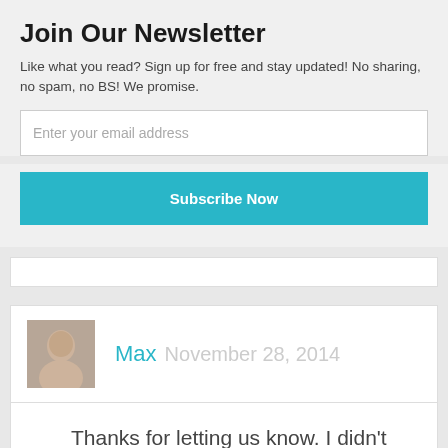Join Our Newsletter
Like what you read? Sign up for free and stay updated! No sharing, no spam, no BS! We promise.
Enter your email address
Subscribe Now
[Figure (photo): Profile photo of Max, a young man in a white shirt]
Max  November 28, 2014
Thanks for letting us know. I didn’t realize it until now that the code is almost the same. Just like LED blinking is a standard hello world